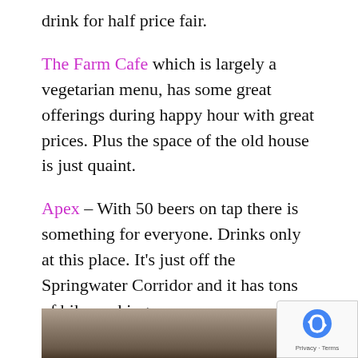drink for half price fair.
The Farm Cafe which is largely a vegetarian menu, has some great offerings during happy hour with great prices. Plus the space of the old house is just quaint.
Apex – With 50 beers on tap there is something for everyone. Drinks only at this place. It's just off the Springwater Corridor and it has tons of bike parking.
Coalition Brewery – Great little brewery.
[Figure (photo): Photo of a wooden surface or outdoor seating area, partially visible at the bottom of the page]